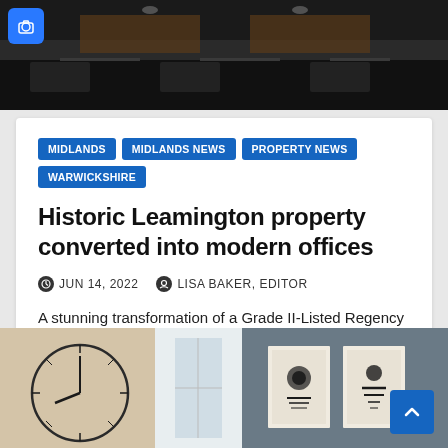[Figure (photo): Dark interior photo showing a conference room or office with dark furniture and overhead lighting]
MIDLANDS
MIDLANDS NEWS
PROPERTY NEWS
WARWICKSHIRE
Historic Leamington property converted into modern offices
JUN 14, 2022   LISA BAKER, EDITOR
A stunning transformation of a Grade II-Listed Regency building in the heart of Leamington Spa in Warwickshire has been completed, providing…
[Figure (photo): Two side-by-side interior photos: left shows a decorative clock on a beige wall, right shows framed artwork on a grey wall]